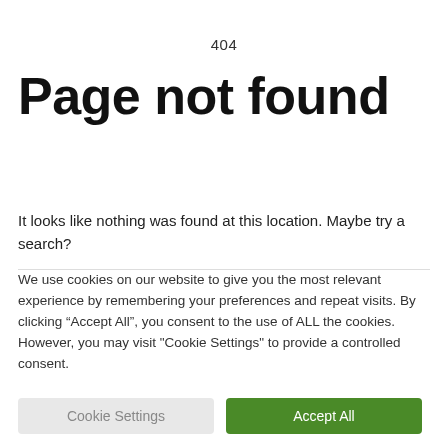404
Page not found
It looks like nothing was found at this location. Maybe try a search?
We use cookies on our website to give you the most relevant experience by remembering your preferences and repeat visits. By clicking “Accept All”, you consent to the use of ALL the cookies. However, you may visit “Cookie Settings” to provide a controlled consent.
Cookie Settings | Accept All